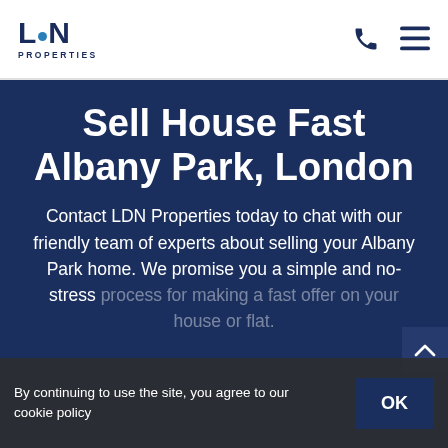LDN PROPERTIES
Sell House Fast Albany Park, London
Contact LDN Properties today to chat with our friendly team of experts about selling your Albany Park home. We promise you a simple and no-stress process for making a fast offer on your house or flat.
By continuing to use the site, you agree to our cookie policy